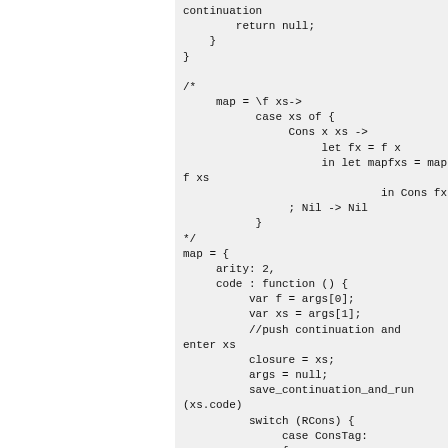continuation
        return null;
    }
}

/*
     map = \f xs->
           case xs of {
                Cons x xs ->
                     let fx = f x
                     in let mapfxs = map f xs
                              in Cons fx mapfxs
                ; Nil -> Nil
           }
*/
map = {
     arity: 2,
     code : function () {
          var f = args[0];
          var xs = args[1];
          //push continuation and enter xs
          closure = xs;
          args = null;
          save_continuation_and_run(xs.code)
          switch (RCons) {
               case ConsTag:
               {